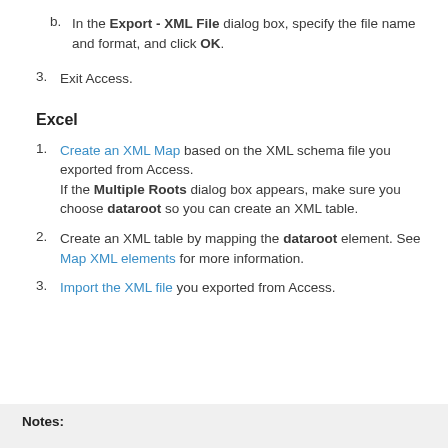b.  In the Export - XML File dialog box, specify the file name and format, and click OK.
3.  Exit Access.
Excel
1.  Create an XML Map based on the XML schema file you exported from Access.

If the Multiple Roots dialog box appears, make sure you choose dataroot so you can create an XML table.
2.  Create an XML table by mapping the dataroot element. See Map XML elements for more information.
3.  Import the XML file you exported from Access.
Notes: